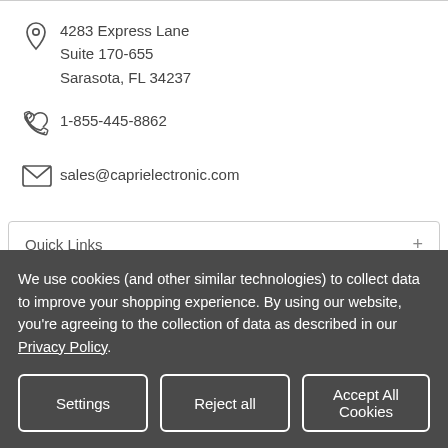4283 Express Lane
Suite 170-655
Sarasota, FL 34237
1-855-445-8862
sales@caprielectronic.com
Quick Links
We use cookies (and other similar technologies) to collect data to improve your shopping experience. By using our website, you're agreeing to the collection of data as described in our Privacy Policy.
Settings
Reject all
Accept All Cookies